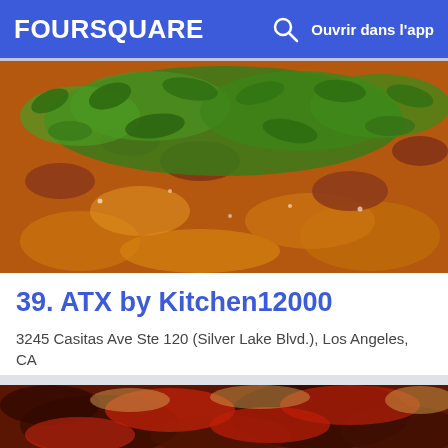FOURSQUARE  Ouvrir dans l'app
[Figure (photo): Close-up photo of a pizza topped with arugula leaves and prosciutto/ham]
39. ATX by Kitchen12000
3245 Casitas Ave Ste 120 (Silver Lake Blvd.), Los Angeles, CA
Restaurant de cuisine américaine moderne · Atwater Village · 19 conseils et avis
[Figure (photo): Close-up photo of a pizza with tomato sauce and charred crust]